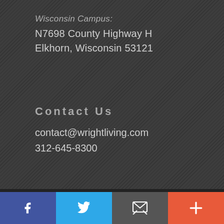Wisconsin Campus:
N7698 County Highway H
Elkhorn, Wisconsin 53121
Contact Us
contact@wrightliving.com
312-645-8300
[Figure (infographic): Social media footer bar with four buttons: Facebook (blue), Twitter (light blue), Email/envelope (gray), and Plus/add (orange-red)]